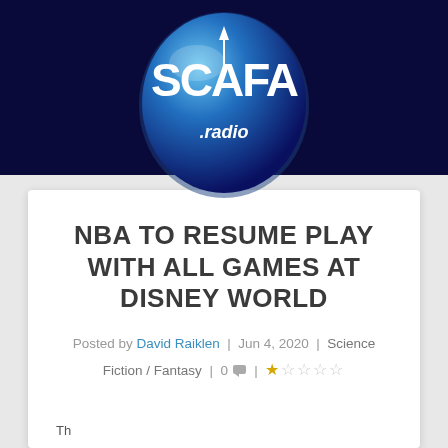[Figure (logo): SCAFA.radio logo — blue metallic oval with white stylized text 'SCAFA' and '.radio' below, on dark navy background]
NBA TO RESUME PLAY WITH ALL GAMES AT DISNEY WORLD
Posted by David Raiklen | Jun 4, 2020 | Science Fiction / Fantasy | 0 💬 | ★☆☆☆☆
Th…